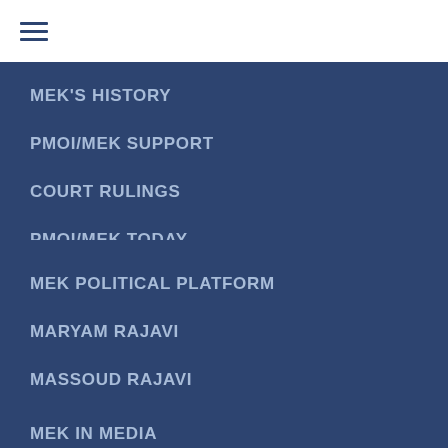[Figure (other): Hamburger menu icon (three horizontal lines)]
MEK'S HISTORY
PMOI/MEK SUPPORT
COURT RULINGS
PMOI/MEK TODAY
MEK POLITICAL PLATFORM
MARYAM RAJAVI
MASSOUD RAJAVI
CAMP ASHRAF & LIBERTY
MEK IN MEDIA